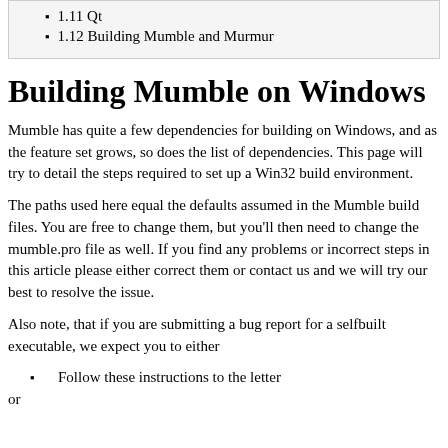1.11  Qt
1.12  Building Mumble and Murmur
Building Mumble on Windows
Mumble has quite a few dependencies for building on Windows, and as the feature set grows, so does the list of dependencies. This page will try to detail the steps required to set up a Win32 build environment.
The paths used here equal the defaults assumed in the Mumble build files. You are free to change them, but you'll then need to change the mumble.pro file as well. If you find any problems or incorrect steps in this article please either correct them or contact us and we will try our best to resolve the issue.
Also note, that if you are submitting a bug report for a selfbuilt executable, we expect you to either
Follow these instructions to the letter
or